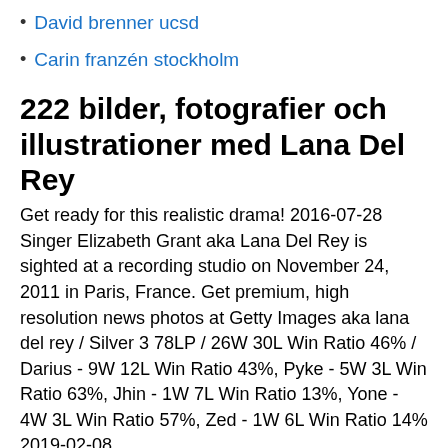David brenner ucsd
Carin franzén stockholm
222 bilder, fotografier och illustrationer med Lana Del Rey
Get ready for this realistic drama! 2016-07-28 Singer Elizabeth Grant aka Lana Del Rey is sighted at a recording studio on November 24, 2011 in Paris, France. Get premium, high resolution news photos at Getty Images aka lana del rey / Silver 3 78LP / 26W 30L Win Ratio 46% / Darius - 9W 12L Win Ratio 43%, Pyke - 5W 3L Win Ratio 63%, Jhin - 1W 7L Win Ratio 13%, Yone - 4W 3L Win Ratio 57%, Zed - 1W 6L Win Ratio 14% 2019-02-08